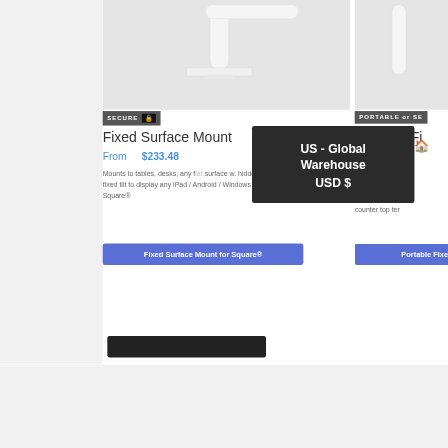[Figure (photo): White fixed surface mount tablet stand product photo on light gray/white background]
SECURE 🔒
PORTABLE or SE
Fixed Surface Mount
From   $233.48
Mounts to tables, desks, any flat surface w. hidden wiring. Secu... fixed tilt to display any iPad / Android / Windows tablet running Square®
US - Global Warehouse
USD $
Portable Fi...
counter top ter...
Fixed Surface Mount for Square®
Portable Fixe...